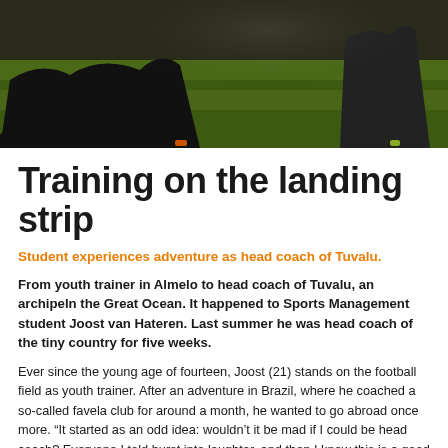[Figure (photo): Overhead/action photo of a person in dark clothing on a green football/soccer pitch, taken from a high angle, with another figure visible in the background]
Training on the landing strip
Student experiences adventure as head coach of Tuvalu.
From youth trainer in Almelo to head coach of Tuvalu, an archipeln the Great Ocean. It happened to Sports Management student Joost van Hateren. Last summer he was head coach of the tiny country for five weeks.
Ever since the young age of fourteen, Joost (21) stands on the football field as youth trainer. After an adventure in Brazil, where he coached a so-called favela club for around a month, he wanted to go abroad once more. “It started as an odd idea: wouldn’t it be mad if I could be head coach? Everyone I told burst into laughter, and then I knew this is a good idea. So, I went looking for an opportunity which I found in Tuvalu.” The archipelago that…